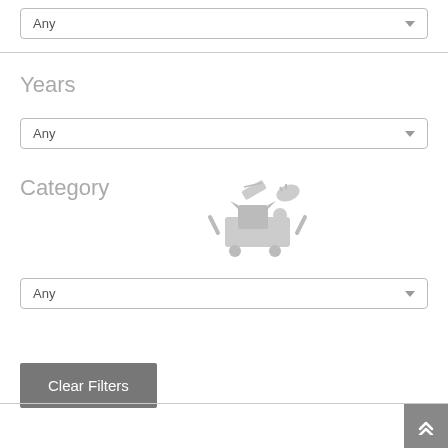Any
Years
Any
Category
[Figure (illustration): Shopping cart illustration with clothing, game controller, and other items flying above it, rendered in light gray]
Any
Clear Filters